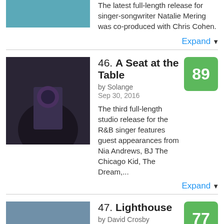The latest full-length release for singer-songwriter Natalie Mering was co-produced with Chris Cohen.
Expand
46. A Seat at the Table by Solange Sep 30, 2016 Score: 89 The third full-length studio release for the R&B singer features guest appearances from Nia Andrews, BJ The Chicago Kid, The Dream,...
Expand
47. Lighthouse by David Crosby Oct 21, 2016 Score: 77 The latest solo release from the singer-songwriter was co-written and executive produced by Michael League of Snarky Puppy.
Expand